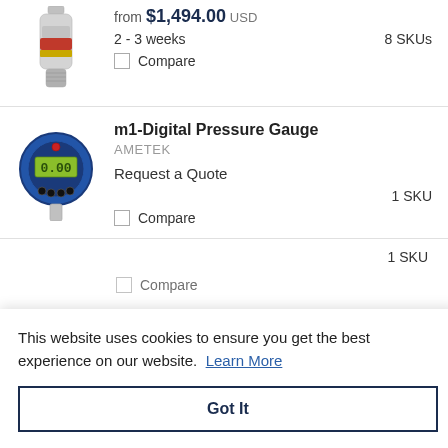[Figure (photo): Small cylindrical pressure sensor/transducer product photo, silver and red coloring]
from $1,494.00 USD
2 - 3 weeks   8 SKUs
Compare
[Figure (photo): m1-Digital Pressure Gauge product photo, blue circular digital gauge with LCD display showing 0.00]
m1-Digital Pressure Gauge
AMETEK
Request a Quote
1 SKU
Compare
This website uses cookies to ensure you get the best experience on our website. Learn More
Got It
1 SKU
Compare